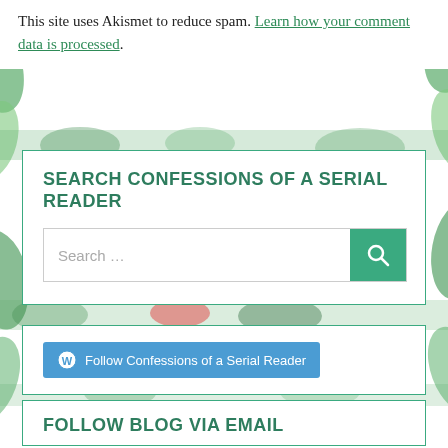This site uses Akismet to reduce spam. Learn how your comment data is processed.
SEARCH CONFESSIONS OF A SERIAL READER
[Figure (screenshot): Search bar with text 'Search ...' and a green search button with magnifying glass icon]
[Figure (screenshot): Blue WordPress Follow button reading 'Follow Confessions of a Serial Reader' with WordPress logo icon]
FOLLOW BLOG VIA EMAIL